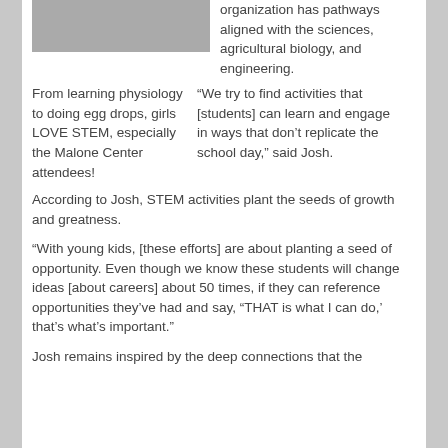[Figure (photo): Partial photo of girls at top of page, cropped]
organization has pathways aligned with the sciences, agricultural biology, and engineering.
From learning physiology to doing egg drops, girls LOVE STEM, especially the Malone Center attendees!
“We try to find activities that [students] can learn and engage in ways that don’t replicate the school day,” said Josh.
According to Josh, STEM activities plant the seeds of growth and greatness.
“With young kids, [these efforts] are about planting a seed of opportunity. Even though we know these students will change ideas [about careers] about 50 times, if they can reference opportunities they’ve had and say, “THAT is what I can do,’ that’s what’s important.”
Josh remains inspired by the deep connections that the